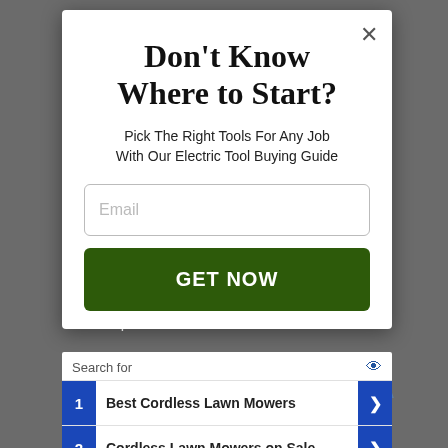Don't Know Where to Start?
Pick The Right Tools For Any Job With Our Electric Tool Buying Guide
Email
GET NOW
No compatible source was found for this media.
Search for
1  Best Cordless Lawn Mowers
2  Cordless Lawn Mowers on Sale